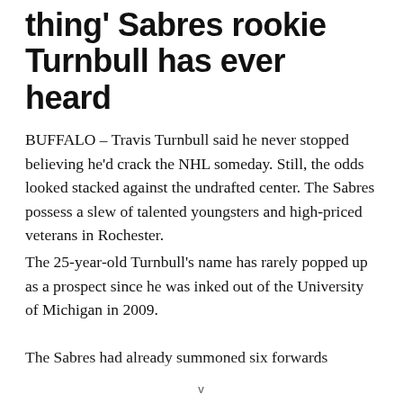thing' Sabres rookie Turnbull has ever heard
BUFFALO – Travis Turnbull said he never stopped believing he'd crack the NHL someday. Still, the odds looked stacked against the undrafted center. The Sabres possess a slew of talented youngsters and high-priced veterans in Rochester.
The 25-year-old Turnbull's name has rarely popped up as a prospect since he was inked out of the University of Michigan in 2009.
The Sabres had already summoned six forwards
V